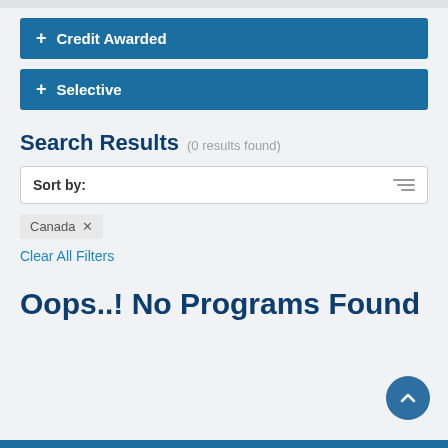+ Credit Awarded
+ Selective
Search Results  (0 results found)
Sort by:
Canada ×
Clear All Filters
Oops..! No Programs Found